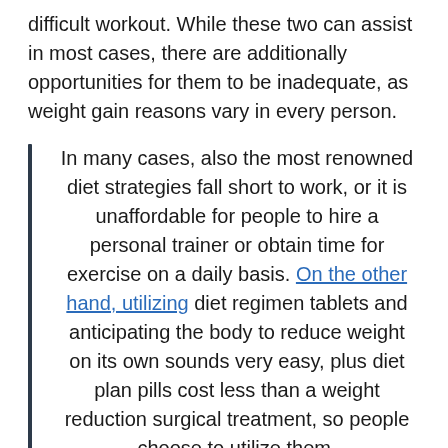difficult workout. While these two can assist in most cases, there are additionally opportunities for them to be inadequate, as weight gain reasons vary in every person.
In many cases, also the most renowned diet strategies fall short to work, or it is unaffordable for people to hire a personal trainer or obtain time for exercise on a daily basis. On the other hand, utilizing diet regimen tablets and anticipating the body to reduce weight on its own sounds very easy, plus diet plan pills cost less than a weight reduction surgical treatment, so people choose to utilize them.